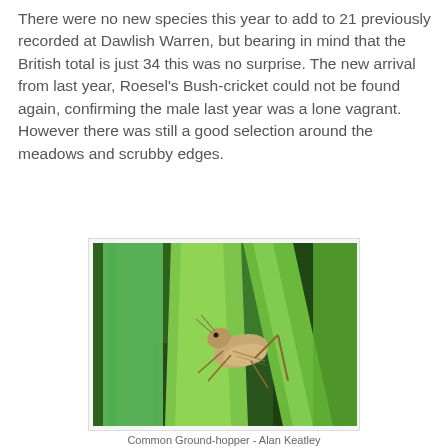There were no new species this year to add to 21 previously recorded at Dawlish Warren, but bearing in mind that the British total is just 34 this was no surprise. The new arrival from last year, Roesel's Bush-cricket could not be found again, confirming the male last year was a lone vagrant. However there was still a good selection around the meadows and scrubby edges.
[Figure (photo): A Common Ground-hopper insect clinging to a bright green grass stem or leaf blade, photographed close-up with a blurred green and dark background. Photo credit: Alan Keatley.]
Common Ground-hopper - Alan Keatley